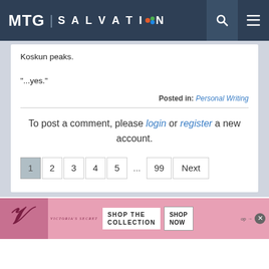MTG | SALVATION
Koskun peaks.
"...yes."
Posted in: Personal Writing
To post a comment, please login or register a new account.
1 2 3 4 5 ... 99 Next
[Figure (other): Victoria's Secret advertisement banner with pink background, logo, 'SHOP THE COLLECTION' text and 'SHOP NOW' button]